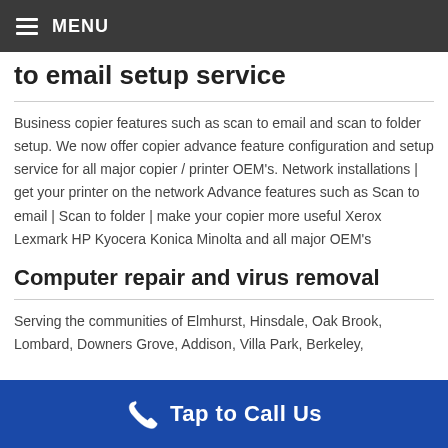MENU
to email setup service
Business copier features such as scan to email and scan to folder setup. We now offer copier advance feature configuration and setup service for all major copier / printer OEM's. Network installations | get your printer on the network Advance features such as Scan to email | Scan to folder | make your copier more useful Xerox Lexmark HP Kyocera Konica Minolta and all major OEM's
Computer repair and virus removal
Serving the communities of Elmhurst, Hinsdale, Oak Brook, Lombard, Downers Grove, Addison, Villa Park, Berkeley,
Tap to Call Us